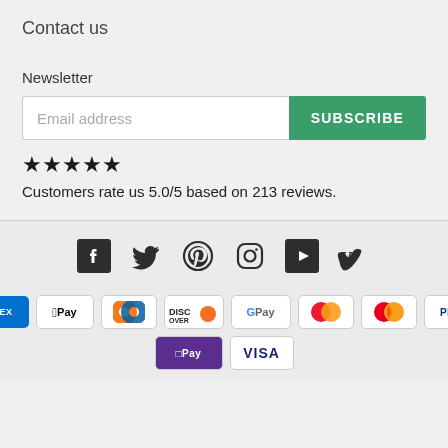Contact us
Newsletter
Email address  SUBSCRIBE
★★★★★ Customers rate us 5.0/5 based on 213 reviews.
[Figure (infographic): Social media icons: Facebook, Twitter, Pinterest, Instagram, YouTube, Vimeo]
[Figure (infographic): Payment method badges: Amex, Apple Pay, Diners Club, Discover, Google Pay, Maestro, Mastercard, PayPal, Shop Pay, Visa]